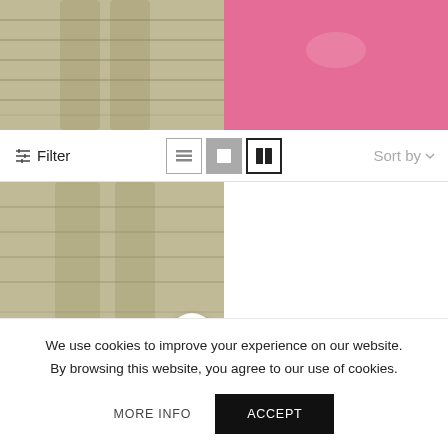[Figure (photo): Two fashion product photos cropped at top: left shows legs in an olive/gold mesh bandage dress with heels, right shows torso in a pink cutout mini cocktail dress]
Filter
Sort by
M
Bathsheba Mesh Bandage Dress
$74.90
XS, S, M, L, XL
Pavaza Cutout Mini Cocktail Dress
$82.79  $66.90
We use cookies to improve your experience on our website. By browsing this website, you agree to our use of cookies.
MORE INFO
ACCEPT